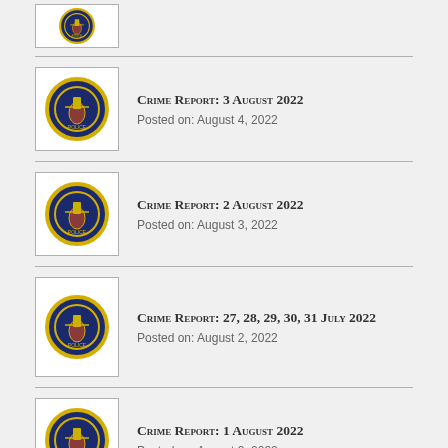[Figure (logo): Partial view of a police/government badge logo at top of page]
Crime Report: 3 August 2022
Posted on: August 4, 2022
Crime Report: 2 August 2022
Posted on: August 3, 2022
Crime Report: 27, 28, 29, 30, 31 July 2022
Posted on: August 2, 2022
Crime Report: 1 August 2022
Posted on: August 2, 2022
Crime Report: 26 July 2022
Posted on: July 27, 2022